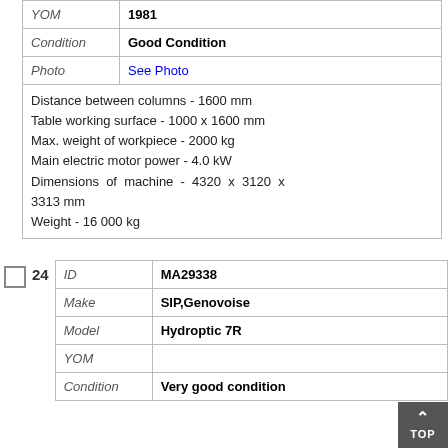| Field | Value |
| --- | --- |
| YOM | 1981 |
| Condition | Good Condition |
| Photo | See Photo |
|  | Distance between columns - 1600 mm
Table working surface - 1000 x 1600 mm
Max. weight of workpiece - 2000 kg
Main electric motor power - 4.0 kW
Dimensions of machine - 4320 x 3120 x 3313 mm
Weight - 16 000 kg |
| Field | Value |
| --- | --- |
| ID | MA29338 |
| Make | SIP,Genovoise |
| Model | Hydroptic 7R |
| YOM |  |
| Condition | Very good condition |